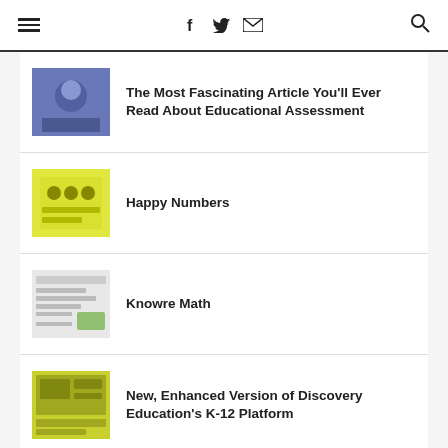☰  f  🐦  ✉  🔍
The Most Fascinating Article You'll Ever Read About Educational Assessment
Happy Numbers
Knowre Math
New, Enhanced Version of Discovery Education's K-12 Platform
New Release: State of EdTech 2022-2023